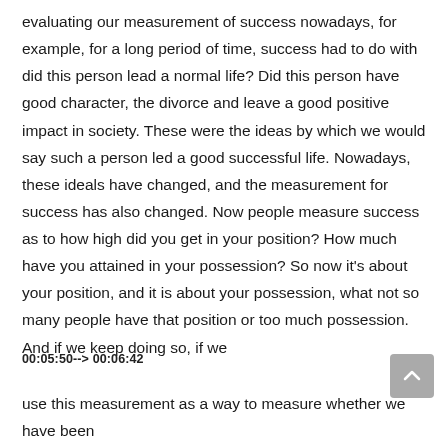evaluating our measurement of success nowadays, for example, for a long period of time, success had to do with did this person lead a normal life? Did this person have good character, the divorce and leave a good positive impact in society. These were the ideas by which we would say such a person led a good successful life. Nowadays, these ideals have changed, and the measurement for success has also changed. Now people measure success as to how high did you get in your position? How much have you attained in your possession? So now it's about your position, and it is about your possession, what not so many people have that position or too much possession. And if we keep doing so, if we
00:05:50--> 00:06:42
use this measurement as a way to measure whether we have been